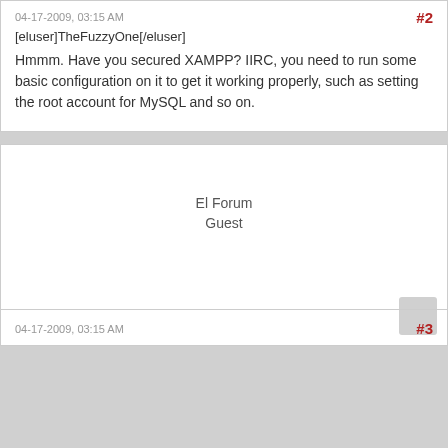04-17-2009, 03:15 AM
#2
[eluser]TheFuzzyOne[/eluser]
Hmmm. Have you secured XAMPP? IIRC, you need to run some basic configuration on it to get it working properly, such as setting the root account for MySQL and so on.
El Forum
Guest
04-17-2009, 03:15 AM
#3